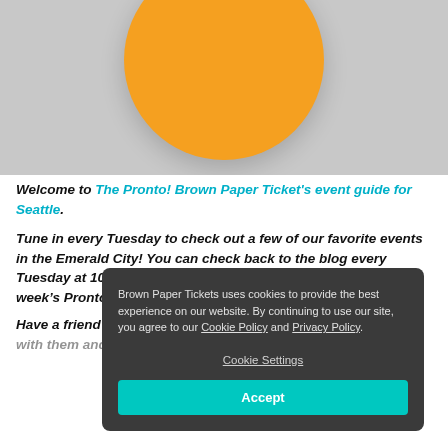[Figure (illustration): Gray background with large orange circle partially visible at top, resembling a logo or decorative header image]
Welcome to The Pronto! Brown Paper Ticket's event guide for Seattle.
Tune in every Tuesday to check out a few of our favorite events in the Emerald City! You can check back to the blog every Tuesday at 10am or hit “subscribe” on the player and get each week’s Pronto delivered right to your email box.
Have a friend that’s new to Seattle? Why not share this podcast with them and give them ideas of something to do?
Brown Paper Tickets uses cookies to provide the best experience on our website. By continuing to use our site, you agree to our Cookie Policy and Privacy Policy.
Cookie Settings
Accept